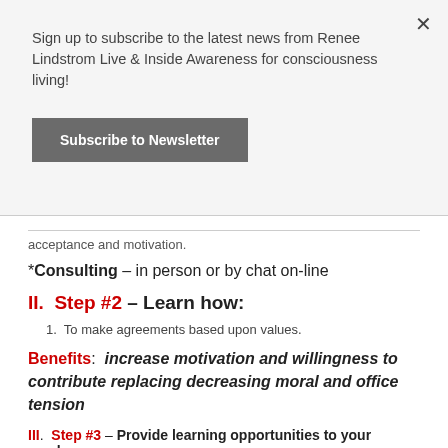Sign up to subscribe to the latest news from Renee Lindstrom Live & Inside Awareness for consciousness living!
Subscribe to Newsletter
acceptance and motivation.
*Consulting – in person or by chat on-line
II.  Step #2 – Learn how:
To make agreements based upon values.
Benefits:  increase motivation and willingness to contribute replacing decreasing moral and office tension
III.  Step #3 – Provide learning opportunities to your employees: